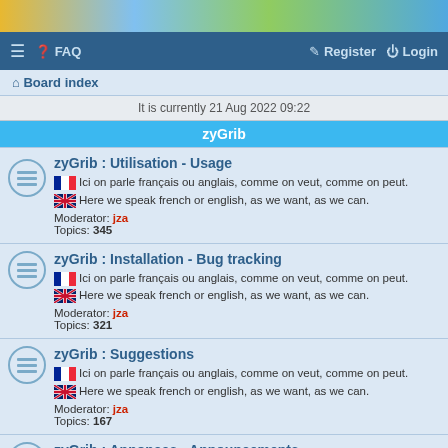[Figure (illustration): Colorful banner image with gradient colors (yellow, blue, green)]
≡  FAQ    Register  Login
Board index
It is currently 21 Aug 2022 09:22
zyGrib
zyGrib : Utilisation - Usage
Ici on parle français ou anglais, comme on veut, comme on peut.
Here we speak french or english, as we want, as we can.
Moderator: jza
Topics: 345
zyGrib : Installation - Bug tracking
Ici on parle français ou anglais, comme on veut, comme on peut.
Here we speak french or english, as we want, as we can.
Moderator: jza
Topics: 321
zyGrib : Suggestions
Ici on parle français ou anglais, comme on veut, comme on peut.
Here we speak french or english, as we want, as we can.
Moderator: jza
Topics: 167
zyGrib : Annonces - Announcements
Abonnez vous à ce forum pour être informés par email des nouvelles importantes (nouvelles versions, bugs critiques).
Seuls les administrateurs peuvent poster ici.
Subscribe to this forum to receive important news by email (new versions...